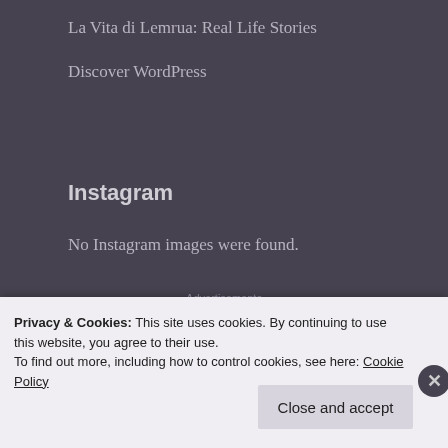La Vita di Lemrua: Real Life Stories
Discover WordPress
Instagram
No Instagram images were found.
Advertisements
[Figure (logo): WooCommerce advertisement banner showing the WooCommerce logo on a purple/violet gradient background]
Privacy & Cookies: This site uses cookies. By continuing to use this website, you agree to their use.
To find out more, including how to control cookies, see here: Cookie Policy
Close and accept